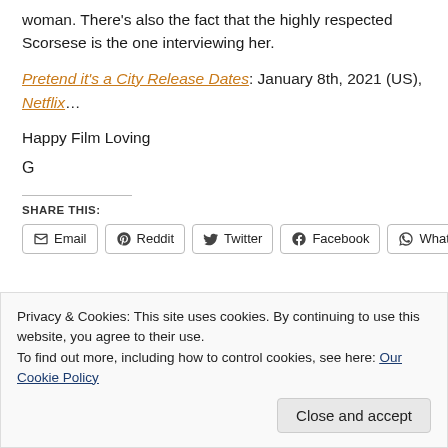woman. There's also the fact that the highly respected Scorsese is the one interviewing her.
Pretend it's a City Release Dates: January 8th, 2021 (US), Netflix…
Happy Film Loving
G
SHARE THIS:
Email  Reddit  Twitter  Facebook  WhatsApp
Privacy & Cookies: This site uses cookies. By continuing to use this website, you agree to their use. To find out more, including how to control cookies, see here: Our Cookie Policy